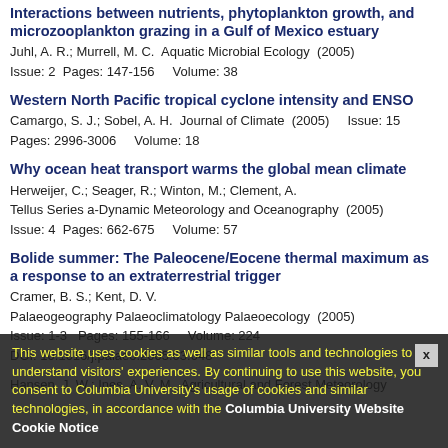Interactions between nutrients, phytoplankton growth, and microzooplankton grazing in a Gulf of Mexico estuary
Juhl, A. R.; Murrell, M. C.  Aquatic Microbial Ecology  (2005)
Issue: 2  Pages: 147-156    Volume: 38
Western North Pacific tropical cyclone intensity and ENSO
Camargo, S. J.; Sobel, A. H.  Journal of Climate  (2005)    Issue: 15
Pages: 2996-3006    Volume: 18
Why ocean heat transport warms the global mean climate
Herweijer, C.; Seager, R.; Winton, M.; Clement, A.
Tellus Series a-Dynamic Meteorology and Oceanography  (2005)
Issue: 4  Pages: 662-675    Volume: 57
Bolide summer: The Paleocene/Eocene thermal maximum as a response to an extraterrestrial trigger
Cramer, B. S.; Kent, D. V.
Palaeogeography Palaeoclimatology Palaeoecology  (2005)
Issue: 1-3  Pages: 155-166    Volume: 224
DOI: 10.1016/j.palaeo.2005.03.048
Hansen, J. W.; Ines, A. V. M.  Agricultural and Forest Meteorology